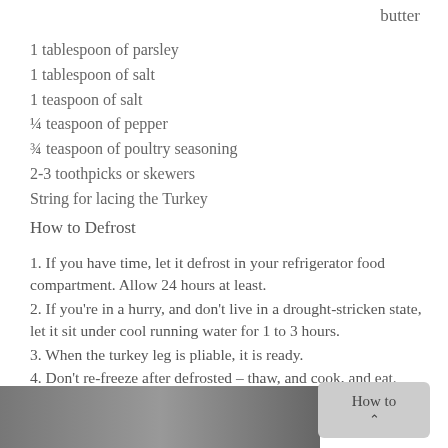butter
1 tablespoon of parsley
1 tablespoon of salt
1 teaspoon of salt
¼ teaspoon of pepper
¾ teaspoon of poultry seasoning
2-3 toothpicks or skewers
String for lacing the Turkey
How to Defrost
1. If you have time, let it defrost in your refrigerator food compartment. Allow 24 hours at least.
2. If you're in a hurry, and don't live in a drought-stricken state, let it sit under cool running water for 1 to 3 hours.
3. When the turkey leg is pliable, it is ready.
4. Don't re-freeze after defrosted – thaw, and cook, and eat.
[Figure (photo): Photo of turkey at bottom of page]
How to